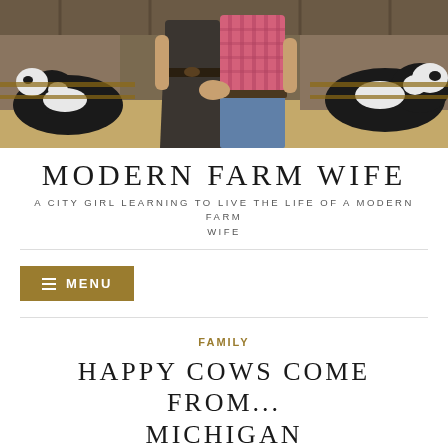[Figure (photo): Two people holding hands in a barn with dairy cows in the background. One person wears a dark skirt and belt, the other wears a pink plaid shirt and jeans.]
MODERN FARM WIFE
A CITY GIRL LEARNING TO LIVE THE LIFE OF A MODERN FARM WIFE
≡ MENU
FAMILY
HAPPY COWS COME FROM... MICHIGAN